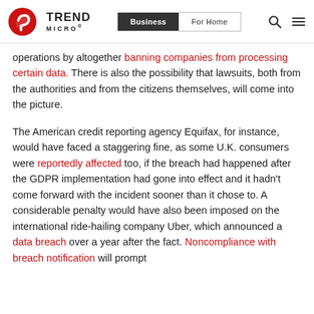Trend Micro | Business | For Home
operations by altogether banning companies from processing certain data. There is also the possibility that lawsuits, both from the authorities and from the citizens themselves, will come into the picture.
The American credit reporting agency Equifax, for instance, would have faced a staggering fine, as some U.K. consumers were reportedly affected too, if the breach had happened after the GDPR implementation had gone into effect and it hadn't come forward with the incident sooner than it chose to. A considerable penalty would have also been imposed on the international ride-hailing company Uber, which announced a data breach over a year after the fact. Noncompliance with breach notification will prompt